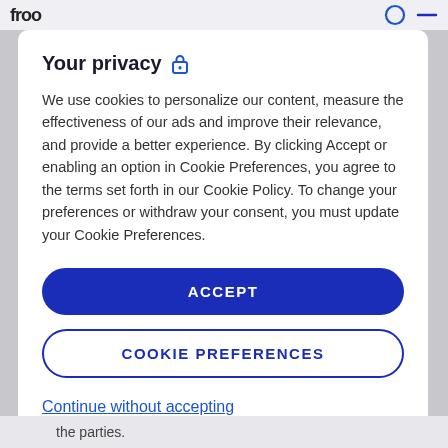froo
Your privacy 🔒
We use cookies to personalize our content, measure the effectiveness of our ads and improve their relevance, and provide a better experience. By clicking Accept or enabling an option in Cookie Preferences, you agree to the terms set forth in our Cookie Policy. To change your preferences or withdraw your consent, you must update your Cookie Preferences.
ACCEPT
COOKIE PREFERENCES
Continue without accepting
the parties.